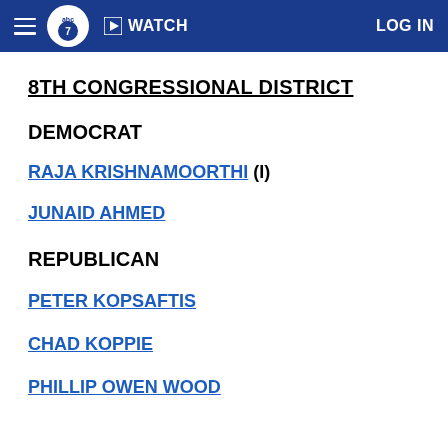ABC7 WATCH LOG IN
8TH CONGRESSIONAL DISTRICT
DEMOCRAT
RAJA KRISHNAMOORTHI (I)
JUNAID AHMED
REPUBLICAN
PETER KOPSAFTIS
CHAD KOPPIE
PHILLIP OWEN WOOD (partial)